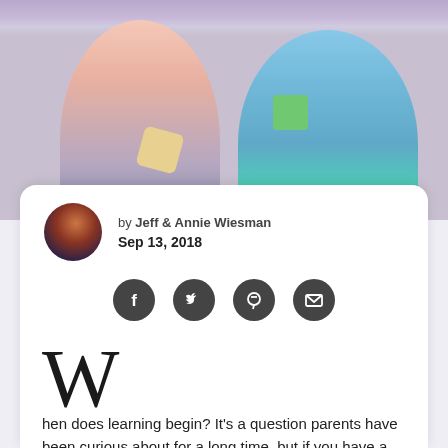[Figure (photo): Two young children sitting and playing with toys/blocks, one wearing pink and one wearing light blue]
by Jeff & Annie Wiesman
Sep 13, 2018
[Figure (infographic): Social sharing icons: Facebook, Twitter, Pinterest, Email]
When does learning begin? It's a question parents have been curious about for a long time, but if you have a newborn baby and want to start their education right, keep reading...